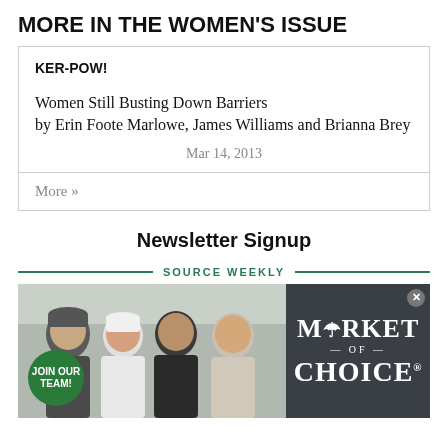MORE IN THE WOMEN'S ISSUE
KER-POW!
Women Still Busting Down Barriers by Erin Foote Marlowe, James Williams and Brianna Brey
Mar 14, 2013
More »
Newsletter Signup
SOURCE WEEKLY
[Figure (photo): Advertisement for Market of Choice showing four staff members posing together with a 'Join Our Team!' badge overlay on the left, and the Market of Choice logo on a dark grey background on the right.]